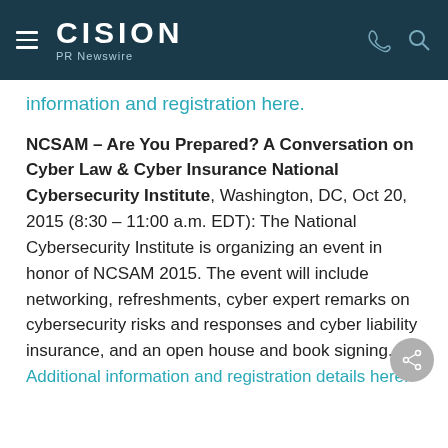CISION PR Newswire
information and registration here.
NCSAM – Are You Prepared? A Conversation on Cyber Law & Cyber Insurance National Cybersecurity Institute, Washington, DC, Oct 20, 2015 (8:30 – 11:00 a.m. EDT): The National Cybersecurity Institute is organizing an event in honor of NCSAM 2015. The event will include networking, refreshments, cyber expert remarks on cybersecurity risks and responses and cyber liability insurance, and an open house and book signing. Additional information and registration details here.
More at the bottom (truncated)